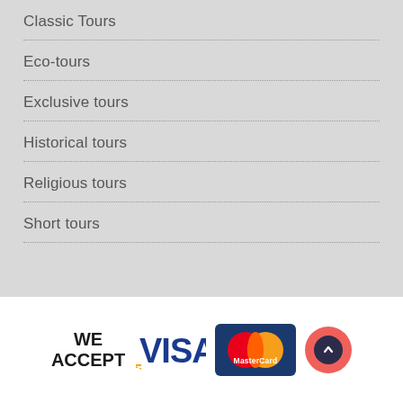Classic Tours
Eco-tours
Exclusive tours
Historical tours
Religious tours
Short tours
[Figure (logo): WE ACCEPT Visa and MasterCard logos with a back-to-top button]